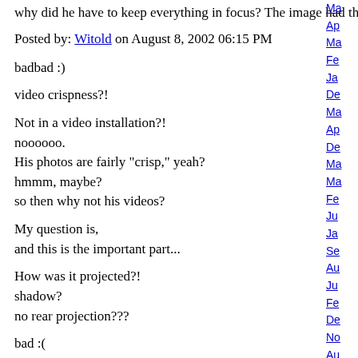why did he have to keep everything in focus? The image had this video crispness. Well...
Posted by: Witold on August 8, 2002 06:15 PM
badbad :)
video crispness?!
Not in a video installation?!
noooooo.
His photos are fairly "crisp," yeah?
hmmm, maybe?
so then why not his videos?
My question is,
and this is the important part...
How was it projected?!
shadow?
no rear projection???
bad :(
Posted by: em!ly on August 8, 2002 06:51 PM